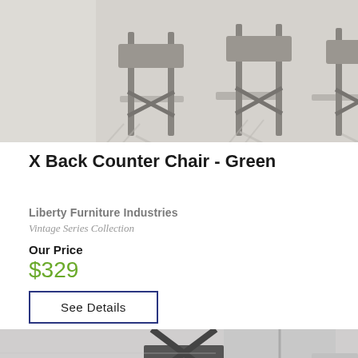[Figure (photo): Photo of X Back Counter Chairs (green/grey metal) arranged in a row, viewed from low angle on a light carpet background]
X Back Counter Chair - Green
Liberty Furniture Industries
Vintage Series Collection
Our Price
$329
See Details
[Figure (photo): Photo of an X Back Counter Chair (dark metal) shown from the front against a light grey wall with a window visible]